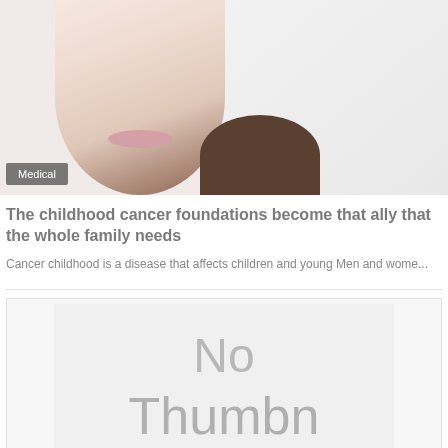[Figure (photo): Photo of a child's face, partially visible, against a light background. A dark shoulder/clothing visible at the bottom.]
Medical
The childhood cancer foundations become that ally that the whole family needs
Cancer childhood is a disease that affects children and young Men and wome...
[Figure (photo): Placeholder image showing 'No Thumbnail' text on a light gray background]